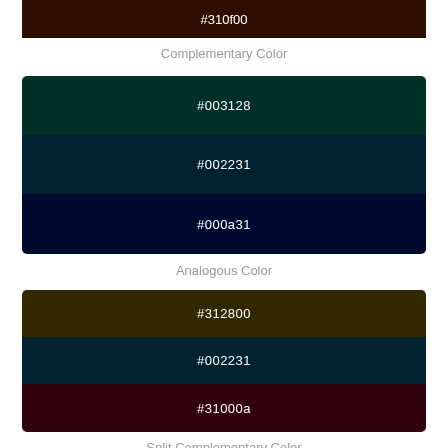[Figure (infographic): Color swatch showing #310f00 dark brown color]
Complementary Color
[Figure (infographic): Three color swatches: #003128 (dark teal), #002231 (dark blue-teal), #000a31 (dark navy)]
Analogous Color
[Figure (infographic): Three color swatches: #312800 (dark olive), #002231 (dark blue-teal), #31000a (dark crimson)]
Split Complementary Color